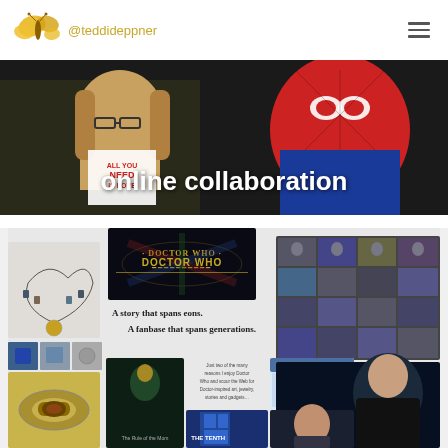@teddideppner
[Figure (photo): Hero banner showing toy figures (Spider-Man and a LEGO-style character) with text overlay 'online collaboration']
online collaboration
[Figure (screenshot): Pinterest-style board with Doctor Who themed content including jewelry, Doctor Who title card, character grid, book covers, actor photos, and text 'A story that spans eons. A fanbase that spans generations.']